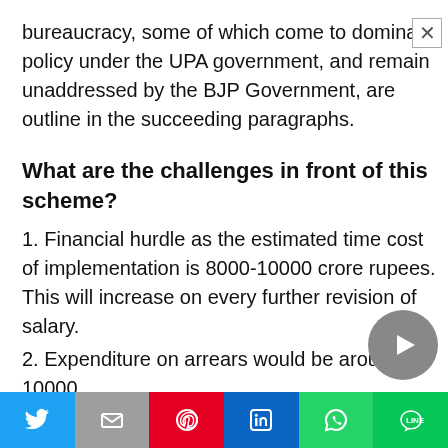bureaucracy, some of which come to dominate policy under the UPA government, and remain unaddressed by the BJP Government, are outline in the succeeding paragraphs.
What are the challenges in front of this scheme?
1. Financial hurdle as the estimated time cost of implementation is 8000-10000 crore rupees. This will increase on every further revision of salary.
2. Expenditure on arrears would be around 10000